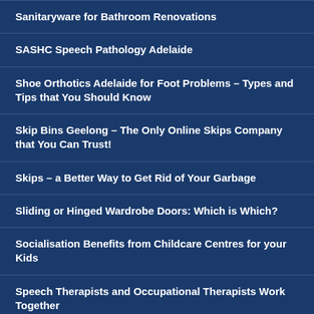Sanitaryware for Bathroom Renovations
SASHC Speech Pathology Adelaide
Shoe Orthotics Adelaide for Foot Problems – Types and Tips that You Should Know
Skip Bins Geelong – The Only Online Skips Company that You Can Trust!
Skips – a Better Way to Get Rid of Your Garbage
Sliding or Hinged Wardrobe Doors: Which is Which?
Socialisation Benefits from Childcare Centres for your Kids
Speech Therapists and Occupational Therapists Work Together